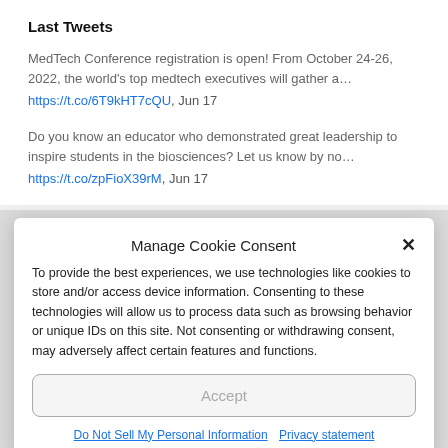Last Tweets
MedTech Conference registration is open! From October 24-26, 2022, the world's top medtech executives will gather a… https://t.co/6T9kHT7cQU, Jun 17
Do you know an educator who demonstrated great leadership to inspire students in the biosciences? Let us know by no… https://t.co/zpFioX39rM, Jun 17
Manage Cookie Consent
To provide the best experiences, we use technologies like cookies to store and/or access device information. Consenting to these technologies will allow us to process data such as browsing behavior or unique IDs on this site. Not consenting or withdrawing consent, may adversely affect certain features and functions.
Accept
Do Not Sell My Personal Information   Privacy statement